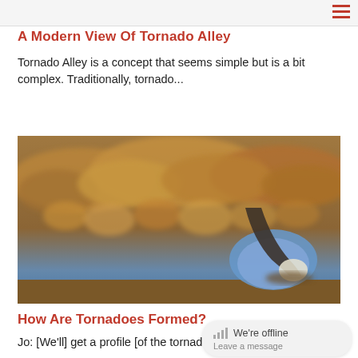A Modern View Of Tornado Alley
Tornado Alley is a concept that seems simple but is a bit complex. Traditionally, tornado...
[Figure (photo): Photograph of a tornado with dark storm clouds and funnel cloud touching the ground, with blue sky visible behind the funnel.]
How Are Tornadoes Formed?
Jo: [We'll] get a profile [of the tornado's structure] for the